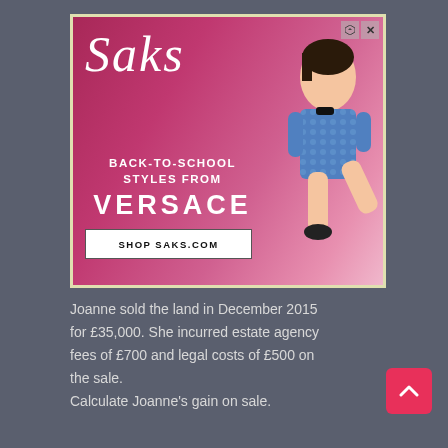[Figure (photo): Saks Fifth Avenue back-to-school advertisement featuring a child in a blue Versace outfit seated on a pink background. Ad shows 'Saks' script logo, text 'BACK-TO-SCHOOL STYLES FROM VERSACE', and a 'SHOP SAKS.COM' button.]
Joanne sold the land in December 2015 for £35,000. She incurred estate agency fees of £700 and legal costs of £500 on the sale.
Calculate Joanne's gain on sale.